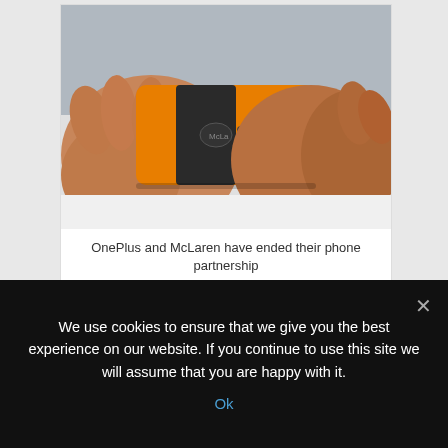[Figure (photo): Two hands holding an orange OnePlus McLaren edition smartphone horizontally, showing the orange back with a dark stripe and logo]
OnePlus and McLaren have ended their phone partnership
Ended
McLaren
OnePlus
Partnership
Phone
Their
Repin  Like  Comment
We use cookies to ensure that we give you the best experience on our website. If you continue to use this site we will assume that you are happy with it.
Ok